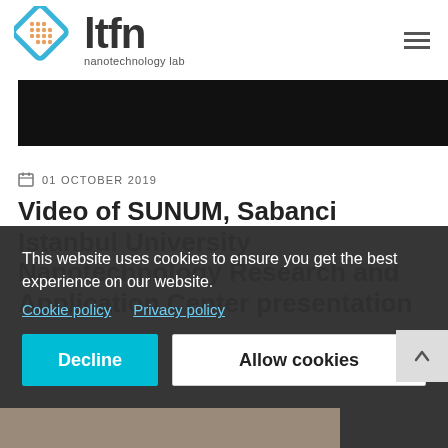[Figure (logo): LTFN nanotechnology lab logo with diamond-shaped icon and bold 'ltfn' text with 'nanotechnology lab' subtitle]
[Figure (photo): Black banner/header image strip]
01 OCTOBER 2019
Video of SUNUM, Sabanci Istanbul University Nanotechnology Research and Application Center presentation
This website uses cookies to ensure you get the best experience on our website. Cookie policy  Privacy policy
Decline  Allow cookies
[Figure (photo): Partial photo strip at the bottom of the page showing people]